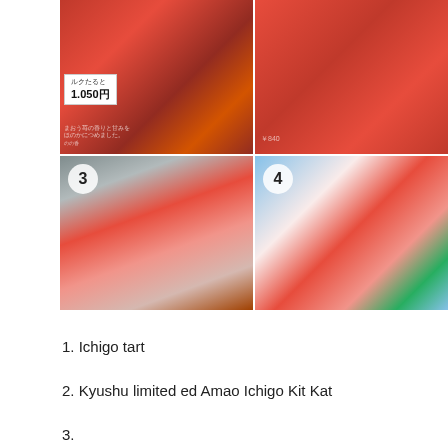[Figure (photo): 2x2 grid of four numbered photos of Japanese strawberry-themed food products. Top-left (1): Ichigo tart with price tag showing ミルクたると 1,050円 and Japanese text. Top-right (2): Kyushu limited edition Amao Ichigo Kit Kat packages in red. Bottom-left (3): Display of strawberry-themed stick candy/wafer products with strawberry decorations. Bottom-right (4): Calpis Fukuoka Amao strawberry drink package with Japanese text カルピス 福岡あまおう, 3本入り, CALPIS logo.]
1. Ichigo tart
2. Kyushu limited ed Amao Ichigo Kit Kat